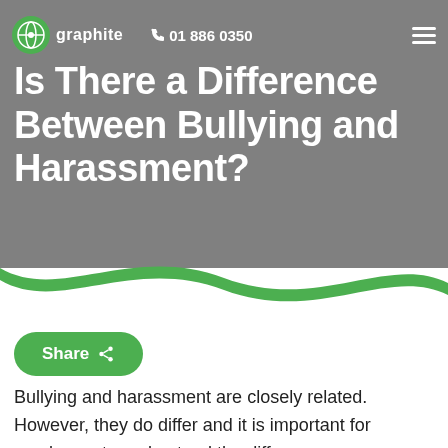graphite  📞 01 886 0350  ☰
Is There a Difference Between Bullying and Harassment?
[Figure (illustration): Green wave divider separating grey header from white content area]
Share
Bullying and harassment are closely related. However, they do differ and it is important for employers to understand the difference